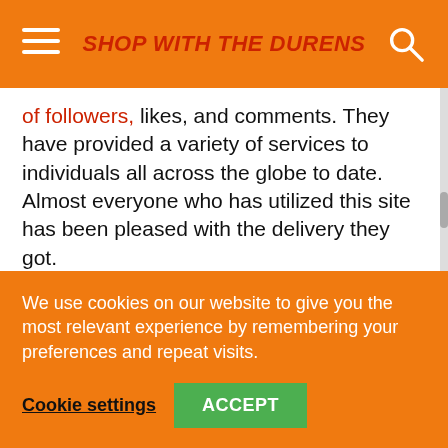SHOP WITH THE DURENS
of followers, likes, and comments. They have provided a variety of services to individuals all across the globe to date. Almost everyone who has utilized this site has been pleased with the delivery they got.
The great thing about Task Ant is that they will never ask you for personal information on Instagram. If they need to know certain information, they will
We use cookies on our website to give you the most relevant experience by remembering your preferences and repeat visits.
Cookie settings   ACCEPT